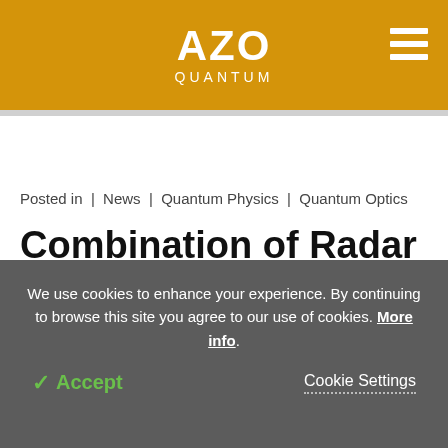AZO QUANTUM
Posted in | News | Quantum Physics | Quantum Optics
Combination of Radar and Ice can Help Detect
We use cookies to enhance your experience. By continuing to browse this site you agree to our use of cookies. More info.
✓ Accept   Cookie Settings